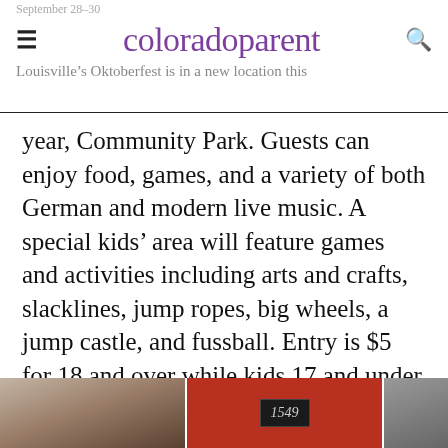September 28-30 | colorado parent | Louisville's Oktoberfest is in a new location this
year, Community Park. Guests can enjoy food, games, and a variety of both German and modern live music. A special kids' area will feature games and activities including arts and crafts, slacklines, jump ropes, big wheels, a jump castle, and fussball. Entry is $5 for 18 and over while kids 17 and under are free. Some activities have a fee. Check the website for the music schedule or to register for The Pretzel Run 5K/10K/kids' run on Sunday. Community Park, 955 Bella Vista Dr., Louisville.
[Figure (photo): A photo strip showing three images at the bottom of the page — left panel shows a person outdoors, center panel shows a building entrance with address 1549, right panel shows another outdoor scene.]